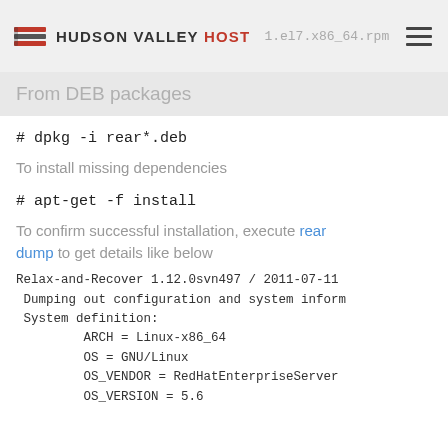Hudson Valley Host — [URL: ...1.el7.x86_64.rpm]
From DEB packages
To install missing dependencies
To confirm successful installation, execute rear dump to get details like below
Relax-and-Recover 1.12.0svn497 / 2011-07-11
 Dumping out configuration and system inform
 System definition:
         ARCH = Linux-x86_64
         OS = GNU/Linux
         OS_VENDOR = RedHatEnterpriseServer
         OS_VERSION = 5.6